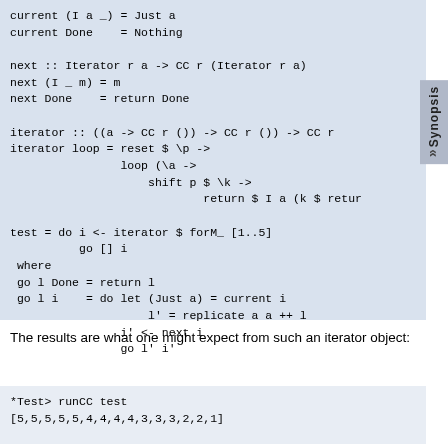[Figure (screenshot): Code block showing Haskell iterator implementation with current, next, and iterator functions, plus a test function]
The results are what one might expect from such an iterator object:
[Figure (screenshot): Code block showing *Test> runCC test output: [5,5,5,5,5,4,4,4,4,3,3,3,2,2,1]]